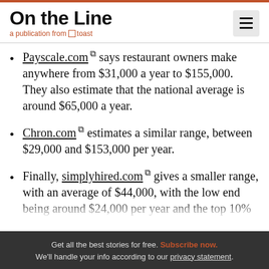On the Line — a publication from Toast
Payscale.com says restaurant owners make anywhere from $31,000 a year to $155,000. They also estimate that the national average is around $65,000 a year.
Chron.com estimates a similar range, between $29,000 and $153,000 per year.
Finally, simplyhired.com gives a smaller range, with an average of $44,000, with the low end being around $24,000 per year and the top 10%
Get all the best stories for free. Subscribe now. We'll handle your info according to our privacy statement.